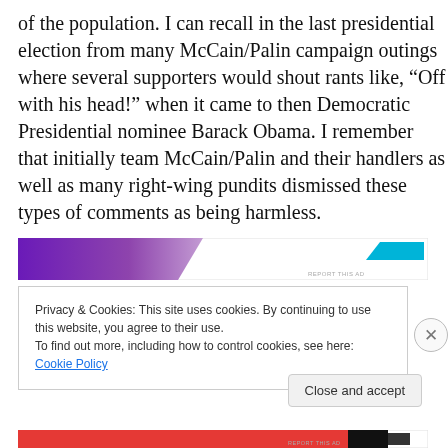of the population.  I can recall in the last presidential election from many McCain/Palin campaign outings where several supporters would shout rants like, “Off with his head!” when it came to then Democratic Presidential nominee Barack Obama.  I remember that initially team McCain/Palin and their handlers as well as many right-wing pundits dismissed these types of comments as being harmless.
[Figure (other): Advertisement banner with purple gradient on left and cyan graphic on right, with 'REPORT THIS AD' text]
Privacy & Cookies: This site uses cookies. By continuing to use this website, you agree to their use.
To find out more, including how to control cookies, see here: Cookie Policy
Close and accept
[Figure (other): Advertisement banner at bottom with red, black sections and 'REPORT THIS AD' text]